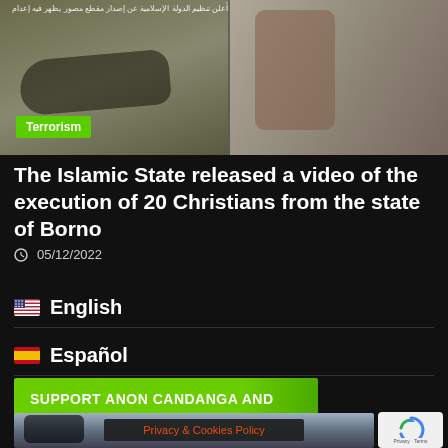[Figure (photo): Two blurred/graphic video screenshots side by side. Left shows a figure on ground, right shows blurred figures. Arabic text caption at top. Green 'Terrorism' badge overlay.]
The Islamic State released a video of the execution of 20 Christians from the state of Borno
05/12/2022
English
Español
SUPPORT ANON CANDANGA AND
[Figure (photo): Bottom partial image with dark objects and Privacy & Cookies Policy overlay bar, reCAPTCHA widget.]